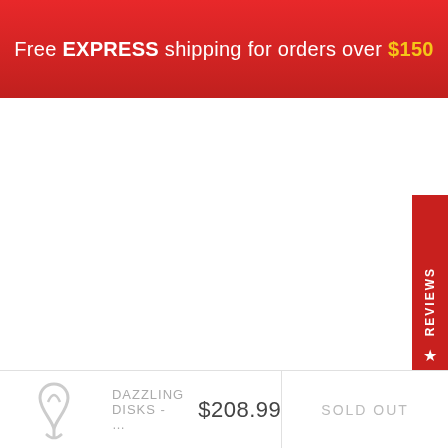Free EXPRESS shipping for orders over $150
[Figure (other): Red vertical REVIEWS tab on right side with star icon]
DAZZLING DISKS - ...    $208.99    SOLD OUT